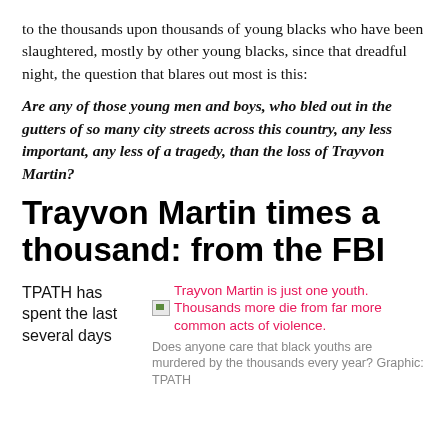to the thousands upon thousands of young blacks who have been slaughtered, mostly by other young blacks, since that dreadful night, the question that blares out most is this:
Are any of those young men and boys, who bled out in the gutters of so many city streets across this country, any less important, any less of a tragedy, than the loss of Trayvon Martin?
Trayvon Martin times a thousand: from the FBI
TPATH has spent the last several days
[Figure (photo): Image placeholder with caption: Trayvon Martin is just one youth. Thousands more die from far more common acts of violence. Does anyone care that black youths are murdered by the thousands every year? Graphic: TPATH]